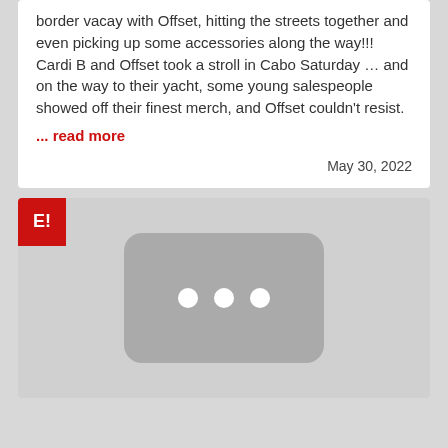border vacay with Offset, hitting the streets together and even picking up some accessories along the way!!! Cardi B and Offset took a stroll in Cabo Saturday … and on the way to their yacht, some young salespeople showed off their finest merch, and Offset couldn't resist.
... read more
May 30, 2022
[Figure (screenshot): E! News thumbnail placeholder showing a dark rounded rectangle with three white dots on a light gray background, with a red E! logo badge in the top-left corner.]